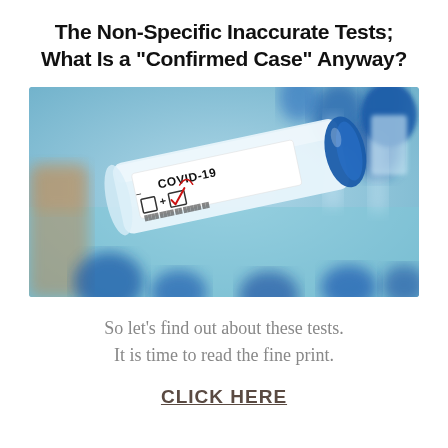The Non-Specific Inaccurate Tests; What Is a "Confirmed Case" Anyway?
[Figure (photo): Close-up photograph of a COVID-19 test tube with a white label showing 'COVID-19' text, a negative checkbox and a positive checkbox with a red checkmark, set against a blurred background of blue-capped test tubes.]
So let’s find out about these tests. It is time to read the fine print.
CLICK HERE